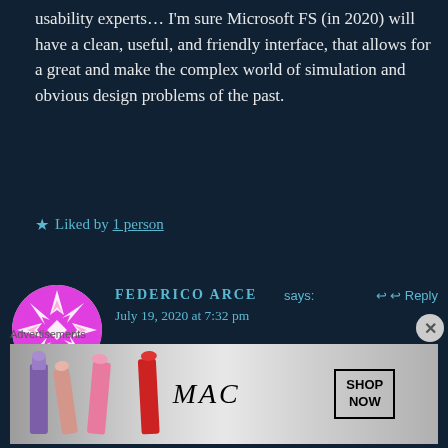usability experts… I'm sure Microsoft FS (in 2020) will have a clean, useful, and friendly interface, that allows for a great and make the complex world of simulation and obvious design problems of the past.
★ Liked by 1 person
FEDERICO ARCE says:   ↩ Reply
July 19, 2020 at 7:32 pm
Advertisements
[Figure (illustration): MAC cosmetics advertisement banner showing lipsticks with MAC logo and SHOP NOW box]